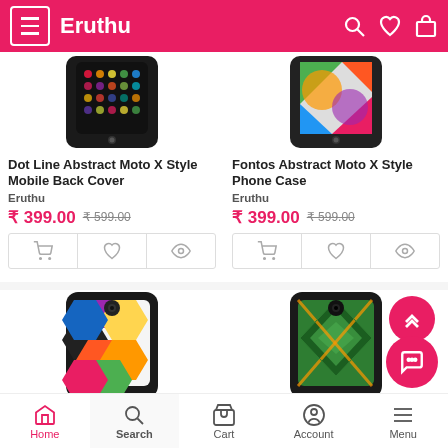Eruthu
[Figure (screenshot): Dot Line Abstract Moto X Style phone back cover - dark with colorful dots pattern]
Dot Line Abstract Moto X Style Mobile Back Cover
Eruthu
₹ 399.00  ₹ 599.00
[Figure (screenshot): Fontos Abstract Moto X Style phone case - colorful geometric shapes]
Fontos Abstract Moto X Style Phone Case
Eruthu
₹ 399.00  ₹ 599.00
[Figure (screenshot): Phone back cover with colorful hexagon geometric pattern]
[Figure (screenshot): Phone back cover with dark teal diamond/rhombus geometric pattern]
Home  Search  Cart  Account  Menu